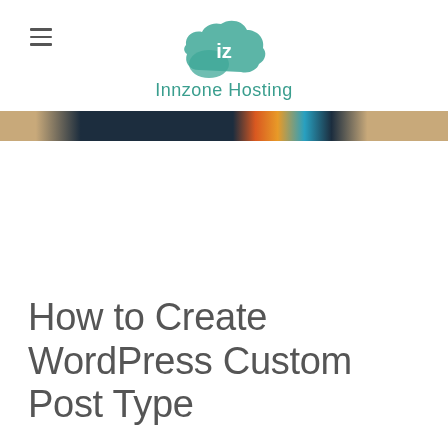Innzone Hosting
[Figure (photo): Narrow horizontal strip showing a blurred/cropped image with wooden tones on sides and dark center with colorful accents]
How to Create WordPress Custom Post Type